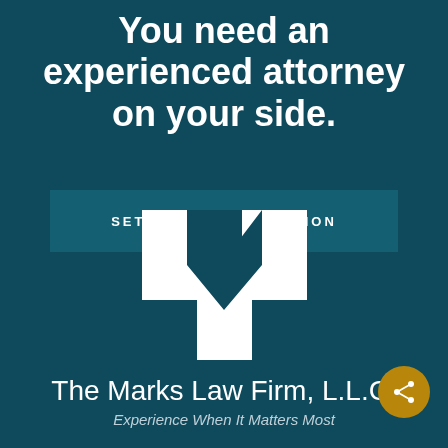You need an experienced attorney on your side.
SET UP A CONSULTATION
[Figure (logo): The Marks Law Firm stylized white M logo on teal background]
The Marks Law Firm, L.L.C.
Experience When It Matters Most